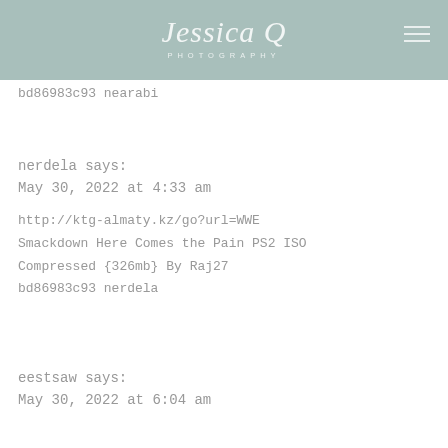Jessica Q Photography
bd86983c93 nearabi
nerdela says:
May 30, 2022 at 4:33 am

http://ktg-almaty.kz/go?url=WWE Smackdown Here Comes the Pain PS2 ISO Compressed {326mb} By Raj27
bd86983c93 nerdela
eestsaw says:
May 30, 2022 at 6:04 am